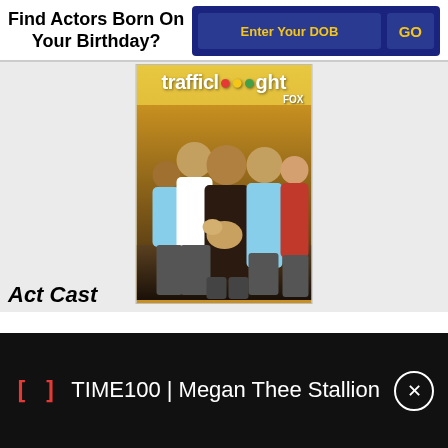Find Actors Born On Your Birthday?
Enter Your DOB
GO
[Figure (photo): TV show poster for 'Traffic Light' on FOX, showing a group of people standing together, one holding a dog, with a yellow/gold background.]
Act Cast
TIME100 | Megan Thee Stallion